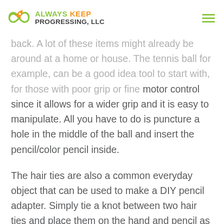ALWAYS KEEP PROGRESSING, LLC
back. A lot of these items might already be around at a home or house. The tennis ball for example, can be a good idea tool to start with, for those with poor grip or fine motor control since it allows for a wider grip and it is easy to manipulate. All you have to do is puncture a hole in the middle of the ball and insert the pencil/color pencil inside.
The hair ties are also a common everyday object that can be used to make a DIY pencil adapter. Simply tie a knot between two hair ties and place them on the hand and pencil as shown in the picture below. Binder clips are another great alternative for a store-bought pencil grip adapter, as it provides the closest